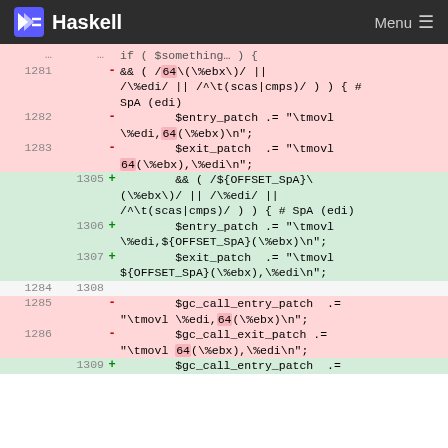Haskell | Menu
[Figure (screenshot): Code diff view showing Haskell/Perl source code changes. Deleted lines (red) replace hardcoded '64' offset with '${OFFSET_SpA}' variable in added lines (green). Line numbers shown on left and right columns.]